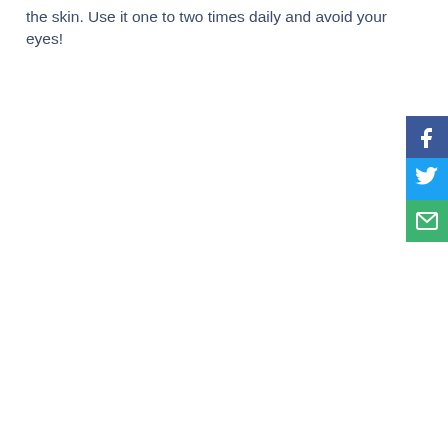the skin. Use it one to two times daily and avoid your eyes!
[Figure (infographic): Social sharing buttons panel — Facebook (blue), Twitter (light blue), Email (green) — stacked vertically on the right edge of the page]